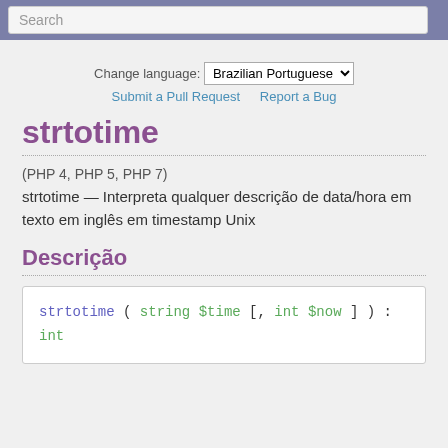Search
Change language: Brazilian Portuguese
Submit a Pull Request   Report a Bug
strtotime
(PHP 4, PHP 5, PHP 7)
strtotime — Interpreta qualquer descrição de data/hora em texto em inglês em timestamp Unix
Descrição
strtotime ( string $time [, int $now ] ) : int